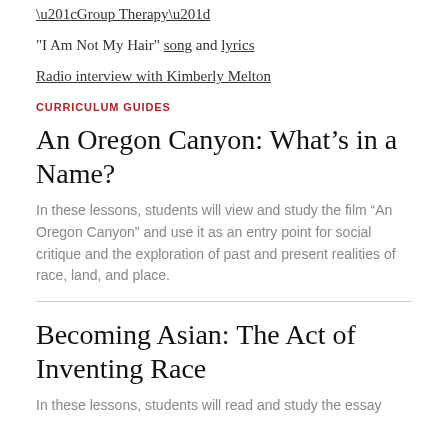“Group Therapy”
"I Am Not My Hair" song and lyrics
Radio interview with Kimberly Melton
CURRICULUM GUIDES
An Oregon Canyon: What’s in a Name?
In these lessons, students will view and study the film “An Oregon Canyon” and use it as an entry point for social critique and the exploration of past and present realities of race, land, and place.
Becoming Asian: The Act of Inventing Race
In these lessons, students will read and study the essay